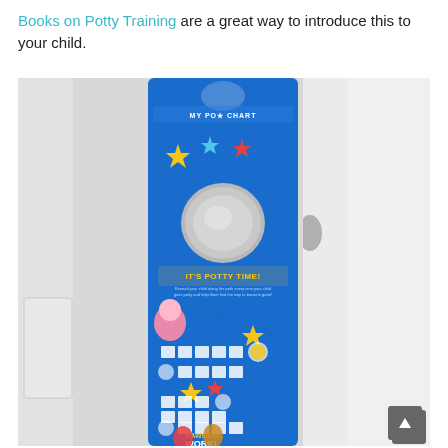Books on Potty Training are a great way to introduce this to your child.
[Figure (photo): A PAW Patrol potty training reward chart door hanger hanging on a white door knob. The blue chart features 'IT'S POTTY TIME!' text, PAW patrol characters (Skye, Marshall, Rubble), colorful paw print stickers, star decorations, a grid of reward sticker spaces, and 'PAWsome WORK!' text at the bottom.]